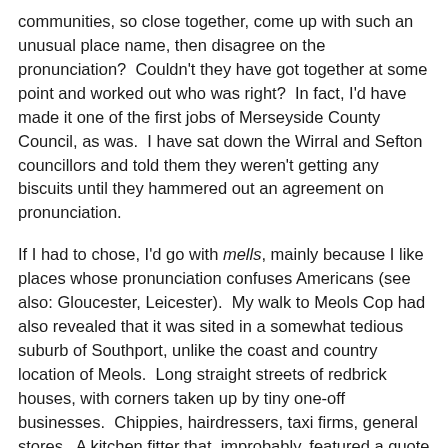communities, so close together, come up with such an unusual place name, then disagree on the pronunciation?  Couldn't they have got together at some point and worked out who was right?  In fact, I'd have made it one of the first jobs of Merseyside County Council, as was.  I have sat down the Wirral and Sefton councillors and told them they weren't getting any biscuits until they hammered out an agreement on pronunciation.
If I had to chose, I'd go with mells, mainly because I like places whose pronunciation confuses Americans (see also: Gloucester, Leicester).  My walk to Meols Cop had also revealed that it was sited in a somewhat tedious suburb of Southport, unlike the coast and country location of Meols.  Long straight streets of redbrick houses, with corners taken up by tiny one-off businesses.  Chippies, hairdressers, taxi firms, general stores.  A kitchen fitter that, improbably, featured a quote from the Bible on its sign.  Becky's Blinds.  A minicab driver dozed in his car on the forecourt of Ladbrokes, his bluetooth headseat still rammed defiantly in his ear.